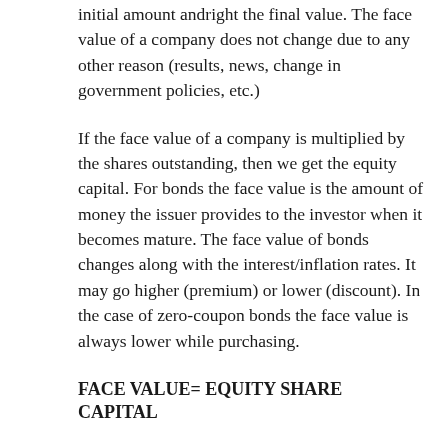initial amount andright the final value. The face value of a company does not change due to any other reason (results, news, change in government policies, etc.)
If the face value of a company is multiplied by the shares outstanding, then we get the equity capital. For bonds the face value is the amount of money the issuer provides to the investor when it becomes mature. The face value of bonds changes along with the interest/inflation rates. It may go higher (premium) or lower (discount). In the case of zero-coupon bonds the face value is always lower while purchasing.
FACE VALUE= EQUITY SHARE CAPITAL
NO. OF SHARES OUTSTANDING